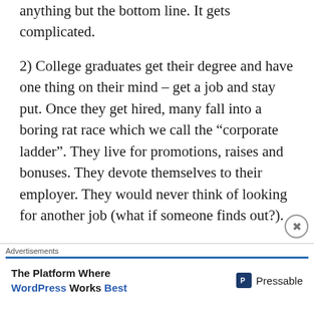anything but the bottom line. It gets complicated.
2) College graduates get their degree and have one thing on their mind – get a job and stay put. Once they get hired, many fall into a boring rat race which we call the “corporate ladder”. They live for promotions, raises and bonuses. They devote themselves to their employer. They would never think of looking for another job (what if someone finds out?).
What they don’t realize is that they
Advertisements
The Platform Where WordPress Works Best — Pressable